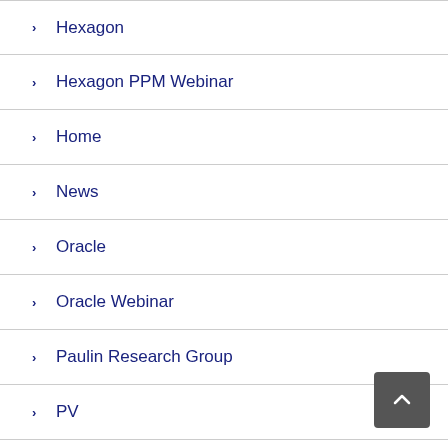› Hexagon
› Hexagon PPM Webinar
› Home
› News
› Oracle
› Oracle Webinar
› Paulin Research Group
› PV
› PV Elite & Tank